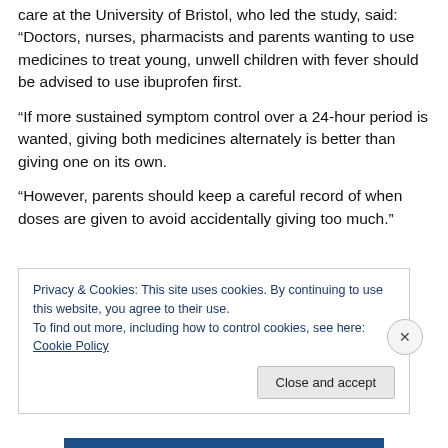care at the University of Bristol, who led the study, said: “Doctors, nurses, pharmacists and parents wanting to use medicines to treat young, unwell children with fever should be advised to use ibuprofen first.
“If more sustained symptom control over a 24-hour period is wanted, giving both medicines alternately is better than giving one on its own.
“However, parents should keep a careful record of when doses are given to avoid accidentally giving too much.”
Privacy & Cookies: This site uses cookies. By continuing to use this website, you agree to their use. To find out more, including how to control cookies, see here: Cookie Policy